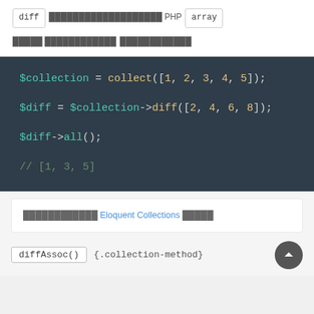diff ███████████████████ PHP array █████ ████████████ ████████████
[Figure (screenshot): Dark code block showing PHP collection diff example: $collection = collect([1, 2, 3, 4, 5]); $diff = $collection->diff([2, 4, 6, 8]); $diff->all(); // [1, 3, 5]]
████████████ Eloquent Collections █████
diffAssoc() {.collection-method}